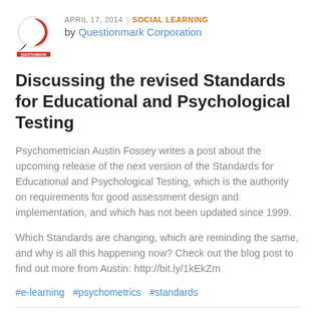[Figure (logo): Questionmark Corporation logo — circular design with black and red elements and a small banner]
APRIL 17, 2014 | SOCIAL LEARNING by Questionmark Corporation
Discussing the revised Standards for Educational and Psychological Testing
Psychometrician Austin Fossey writes a post about the upcoming release of the next version of the Standards for Educational and Psychological Testing, which is the authority on requirements for good assessment design and implementation, and which has not been updated since 1999.
Which Standards are changing, which are reminding the same, and why is all this happening now? Check out the blog post to find out more from Austin: http://bit.ly/1kEkZm
#e-learning  #psychometrics  #standards
0 Likes   2 Votes